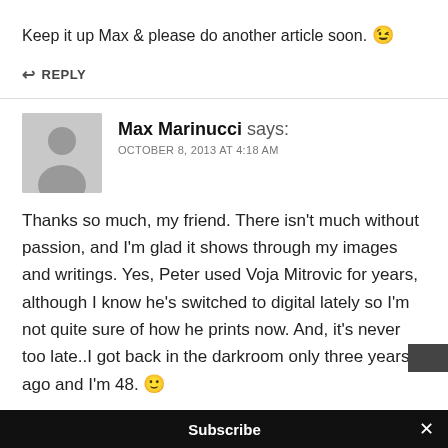Keep it up Max & please do another article soon. 😉
↩ REPLY
Max Marinucci says:
OCTOBER 8, 2013 AT 4:18 AM
Thanks so much, my friend. There isn't much without passion, and I'm glad it shows through my images and writings. Yes, Peter used Voja Mitrovic for years, although I know he's switched to digital lately so I'm not quite sure of how he prints now. And, it's never too late..I got back in the darkroom only three years ago and I'm 48. 🙂
Subscribe